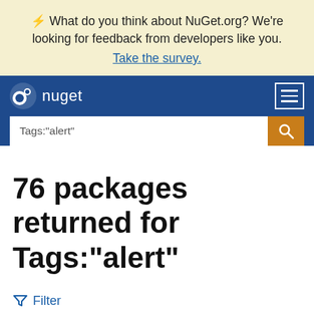⚡ What do you think about NuGet.org? We're looking for feedback from developers like you. Take the survey.
[Figure (screenshot): NuGet navigation bar with logo and hamburger menu]
Tags:"alert"
76 packages returned for Tags:"alert"
Filter